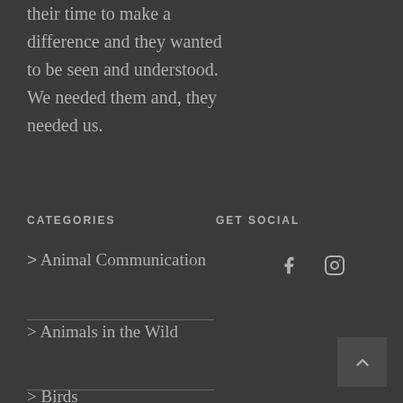their time to make a difference and they wanted to be seen and understood. We needed them and, they needed us.
CATEGORIES
GET SOCIAL
> Animal Communication
> Animals in the Wild
> Birds